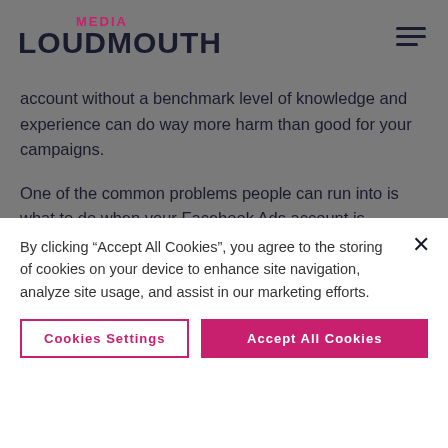MEDIA LOUDMOUTH
account without a benchmark level of knowledge and experience can do way more harm than good for your campaigns.
One of the common problems people can run into is what to do when your Facebook Ads account is disabled.
Why is my Facebook Ads account
By clicking “Accept All Cookies”, you agree to the storing of cookies on your device to enhance site navigation, analyze site usage, and assist in our marketing efforts.